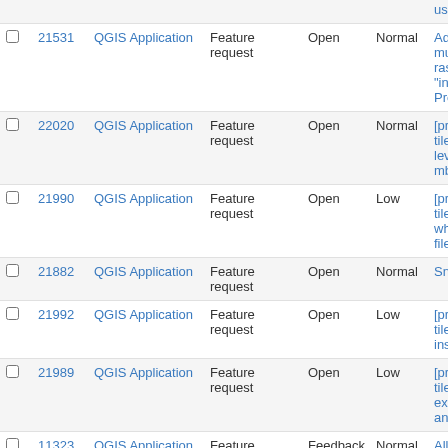|  | # | Project | Type | Status | Priority | Summary |
| --- | --- | --- | --- | --- | --- | --- |
| ☐ | 21531 | QGIS Application | Feature request | Open | Normal | Add suppo multilayer/ raster inp "input rast Processin |
| ☐ | 22020 | QGIS Application | Feature request | Open | Normal | [processin tiles] appe levels to a mbtiles |
| ☐ | 21990 | QGIS Application | Feature request | Open | Low | [processin tiles] wam when ove files/folde |
| ☐ | 21882 | QGIS Application | Feature request | Open | Normal | Snap midp |
| ☐ | 21992 | QGIS Application | Feature request | Open | Low | [processin tiles] mas instead of |
| ☐ | 21989 | QGIS Application | Feature request | Open | Low | [processin tiles]Allow export tile and mbtle |
| ☐ | 11323 | QGIS Application | Feature request | Feedback | Normal | Allow editi command processing |
| ☐ | 21982 | QGIS Application | Feature request | Open | Normal | Making vir more visib |
| ☐ | 21977 | QGIS Application | Feature request | Open | Normal | More cont font style i compose and legen |